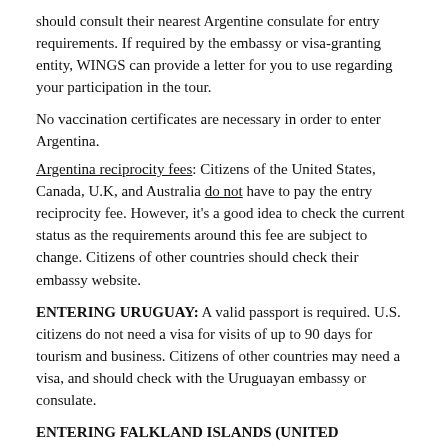should consult their nearest Argentine consulate for entry requirements. If required by the embassy or visa-granting entity, WINGS can provide a letter for you to use regarding your participation in the tour.
No vaccination certificates are necessary in order to enter Argentina.
Argentina reciprocity fees: Citizens of the United States, Canada, U.K, and Australia do not have to pay the entry reciprocity fee. However, it's a good idea to check the current status as the requirements around this fee are subject to change. Citizens of other countries should check their embassy website.
ENTERING URUGUAY: A valid passport is required. U.S. citizens do not need a visa for visits of up to 90 days for tourism and business. Citizens of other countries may need a visa, and should check with the Uruguayan embassy or consulate.
ENTERING FALKLAND ISLANDS (UNITED KINGDOM): A valid passport is required. U.S. citizens do not need a visa for visits of up to 90 days for tourism and business. Citizens of other countries may need a visa, and should check with the Falkland embassy or consulate.